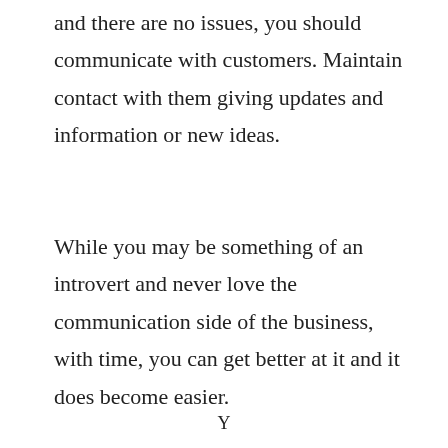and there are no issues, you should communicate with customers. Maintain contact with them giving updates and information or new ideas.
While you may be something of an introvert and never love the communication side of the business, with time, you can get better at it and it does become easier.
Y